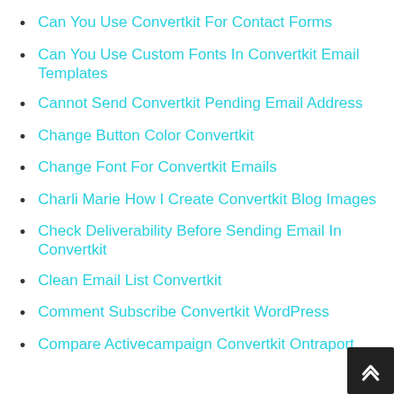Can You Use Convertkit For Contact Forms
Can You Use Custom Fonts In Convertkit Email Templates
Cannot Send Convertkit Pending Email Address
Change Button Color Convertkit
Change Font For Convertkit Emails
Charli Marie How I Create Convertkit Blog Images
Check Deliverability Before Sending Email In Convertkit
Clean Email List Convertkit
Comment Subscribe Convertkit WordPress
Compare Activecampaign Convertkit Ontraport